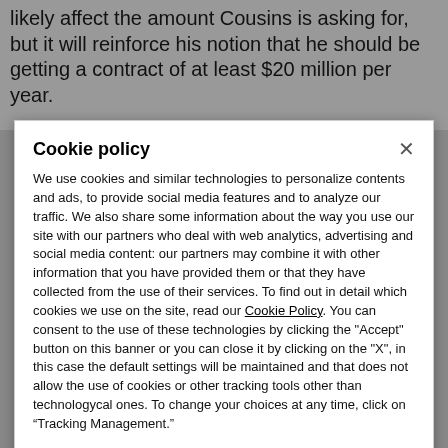likely affect the amount Cousins is asking for, but it will reinforce his notion that he should be getting a contract of at least $20 million per year.
Cookie policy
We use cookies and similar technologies to personalize contents and ads, to provide social media features and to analyze our traffic. We also share some information about the way you use our site with our partners who deal with web analytics, advertising and social media content: our partners may combine it with other information that you have provided them or that they have collected from the use of their services. To find out in detail which cookies we use on the site, read our Cookie Policy. You can consent to the use of these technologies by clicking the "Accept" button on this banner or you can close it by clicking on the "X", in this case the default settings will be maintained and that does not allow the use of cookies or other tracking tools other than technologycal ones. To change your choices at any time, click on “Tracking Management.”
ACCEPT
TRACKERS MANAGEMENT
Show vendors | Show purposes